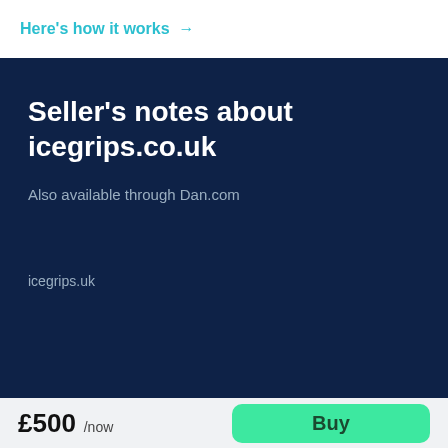Here's how it works →
Seller's notes about icegrips.co.uk
Also available through Dan.com
icegrips.uk
£500 /now
Buy